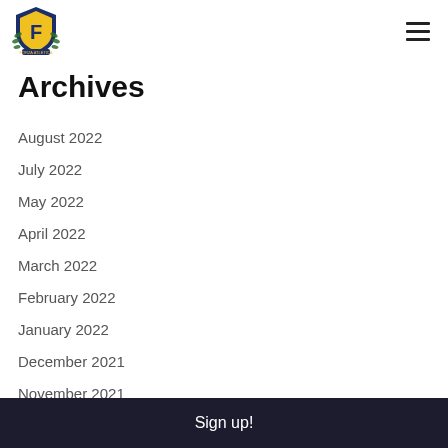Forza Atletica logo and navigation menu
Archives
August 2022
July 2022
May 2022
April 2022
March 2022
February 2022
January 2022
December 2021
November 2021
August 2021
June 2021
Sign up!